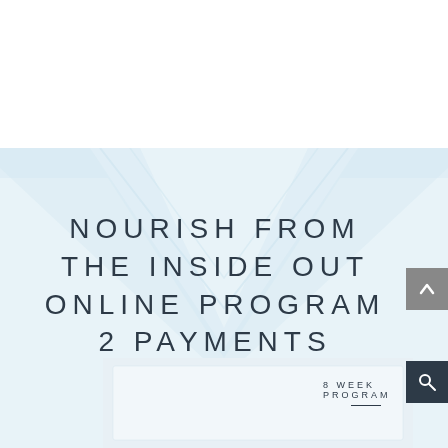NOURISH FROM THE INSIDE OUT ONLINE PROGRAM 2 PAYMENTS
[Figure (illustration): Partial view of an 8 week program product/book image at bottom of page, with text '8 WEEK PROGRAM' visible]